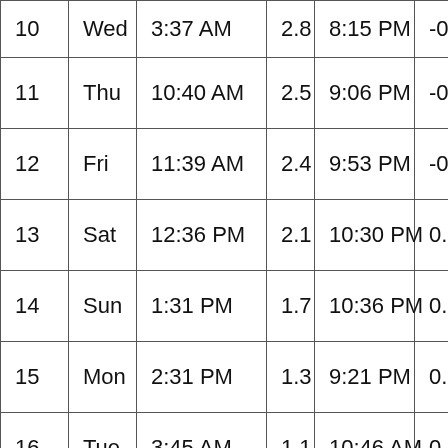| 10 | Wed | 3:37 AM | 2.8 | 8:15 PM | -0.7 |
| 11 | Thu | 10:40 AM | 2.5 | 9:06 PM | -0.5 |
| 12 | Fri | 11:39 AM | 2.4 | 9:53 PM | -0.2 |
| 13 | Sat | 12:36 PM | 2.1 | 10:30 PM | 0.2 |
| 14 | Sun | 1:31 PM | 1.7 | 10:36 PM | 0.6 |
| 15 | Mon | 2:31 PM | 1.3 | 9:21 PM | 0.9 |
| 16 | Tue | 3:45 AM | 1.1 | 10:46 AM | 0.9 |